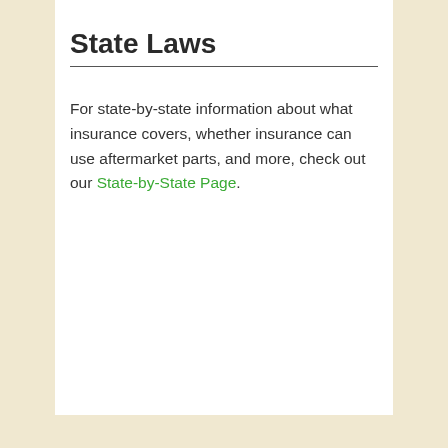State Laws
For state-by-state information about what insurance covers, whether insurance can use aftermarket parts, and more, check out our State-by-State Page.